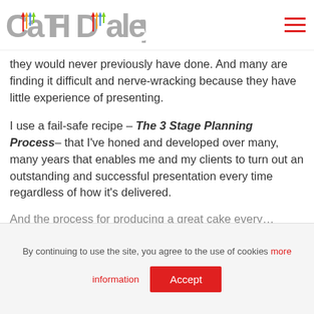Cath Daley
they would never previously have done. And many are finding it difficult and nerve-wracking because they have little experience of presenting.
I use a fail-safe recipe – The 3 Stage Planning Process– that I've honed and developed over many, many years that enables me and my clients to turn out an outstanding and successful presentation every time regardless of how it's delivered.
And the process for producing a great cake every…
By continuing to use the site, you agree to the use of cookies more information Accept